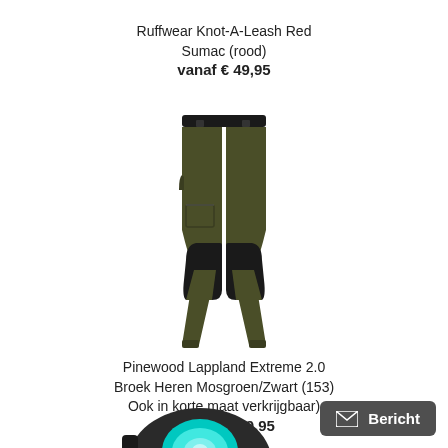Ruffwear Knot-A-Leash Red Sumac (rood)
vanaf € 49,95
[Figure (photo): Olive green and black outdoor trousers (Pinewood Lappland Extreme 2.0) displayed upright against white background]
Pinewood Lappland Extreme 2.0 Broek Heren Mosgroen/Zwart (153) Ook in korte maat verkrijgbaar)
vanaf € 139,95
[Figure (photo): Partial view of a teal/cyan headlamp device from above against white background]
Bericht